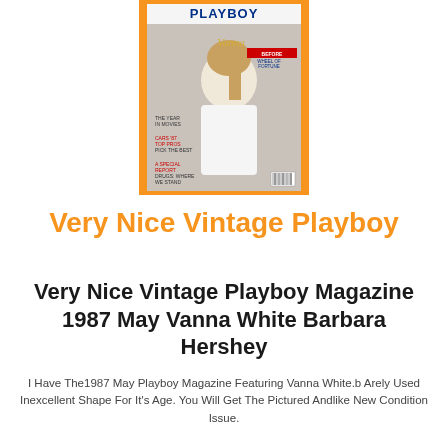[Figure (photo): Cover of Playboy magazine May 1987 featuring Vanna White, displayed against an orange background. The cover shows the Playboy logo at top, 'Vanna' in script text, 'Before Wheel of Fortune', 'The Year in Movies', 'Cars 87 Top Pros Pick the Best', 'A Special Report: Drugs: Where We Stand'.]
Very Nice Vintage Playboy
Very Nice Vintage Playboy Magazine 1987 May Vanna White Barbara Hershey
I Have The1987 May Playboy Magazine Featuring Vanna White.b Arely Used Inexcellent Shape For It's Age. You Will Get The Pictured Andlike New Condition Issue.